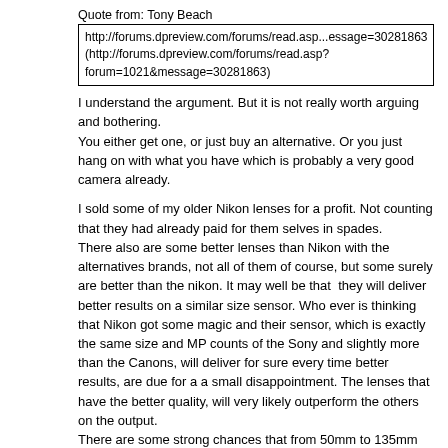Quote from: Tony Beach
http://forums.dpreview.com/forums/read.asp...essage=30281863
(http://forums.dpreview.com/forums/read.asp?forum=1021&message=30281863)
I understand the argument. But it is not really worth arguing and bothering.
You either get one, or just buy an alternative. Or you just hang on with what you have which is probably a very good camera already.
I sold some of my older Nikon lenses for a profit. Not counting that they had already paid for them selves in spades.
There also are some better lenses than Nikon with the alternatives brands, not all of them of course, but some surely are better than the nikon. It may well be that  they will deliver better results on a similar size sensor. Who ever is thinking that Nikon got some magic and their sensor, which is exactly the same size and MP counts of the Sony and slightly more than the Canons, will deliver for sure every time better results, are due for a a small disappointment. The lenses that have the better quality, will very likely outperform the others on the output.
There are some strong chances that from 50mm to 135mm primes, Canon and Sony are equal and some cases better than Nikon's, not mentioning the 70-200mm zooms. If someone is working on that range...
Of course all that matters if you only shoot raw and do not shoot Jpeg like Ken and Adolph.